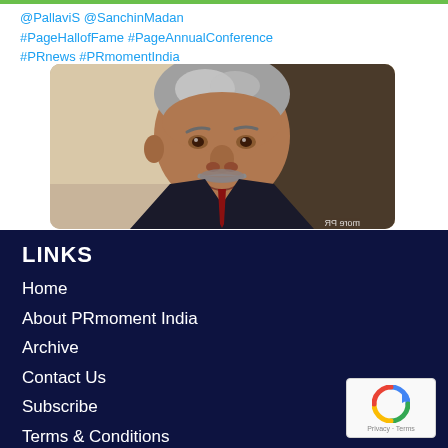@PallaviS @SanchinMadan #PageHallofFame #PageAnnualConference #PRnews #PRmomentIndia
[Figure (photo): Portrait photo of an older Indian man with grey hair and a moustache wearing a suit, shown from the shoulders up]
LINKS
Home
About PRmoment India
Archive
Contact Us
Subscribe
Terms & Conditions